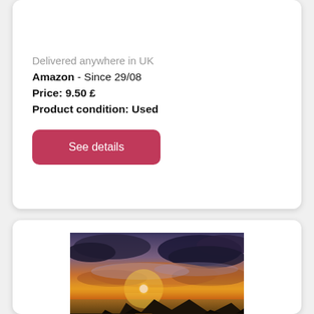Delivered anywhere in UK
Amazon  - Since 29/08
Price: 9.50 £
Product condition: Used
See details
[Figure (photo): Sunset over a lake or bay with mountains silhouetted in the foreground, dramatic sky with clouds lit in orange and golden tones]